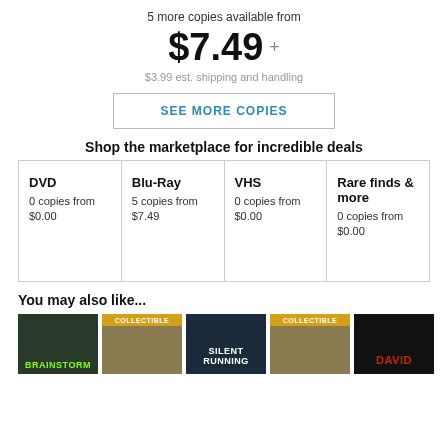5 more copies available from
$7.49 +
$3.99 est. shipping and handling
SEE MORE COPIES
Shop the marketplace for incredible deals
| DVD | Blu-Ray | VHS | Rare finds & more |
| --- | --- | --- | --- |
| 0 copies from $0.00 | 5 copies from $7.49 | 0 copies from $0.00 | 0 copies from $0.00 |
You may also like...
[Figure (photo): Thumbnails of related movie products: Brainstorm, a collectible item, Silent Running, another collectible item, and a fifth item with red text]